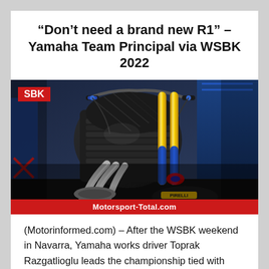“Don’t need a brand new R1” – Yamaha Team Principal via WSBK 2022
[Figure (photo): Close-up photo of a Yamaha R1 superbike in a garage/pit area, showing the engine, exhaust pipes, and front suspension. Blue and gold fork legs visible. Red 'SBK' badge overlay in top-left. 'Motorsport-Total.com' watermark on red bar at bottom.]
(Motorinformed.com) – After the WSBK weekend in Navarra, Yamaha works driver Toprak Razgatlioglu leads the championship tied with